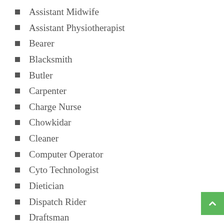Assistant Midwife
Assistant Physiotherapist
Bearer
Blacksmith
Butler
Carpenter
Charge Nurse
Chowkidar
Cleaner
Computer Operator
Cyto Technologist
Dietician
Dispatch Rider
Draftsman
Driver
Foreman
Head Cook
Hospital Physicist
Junior Technician